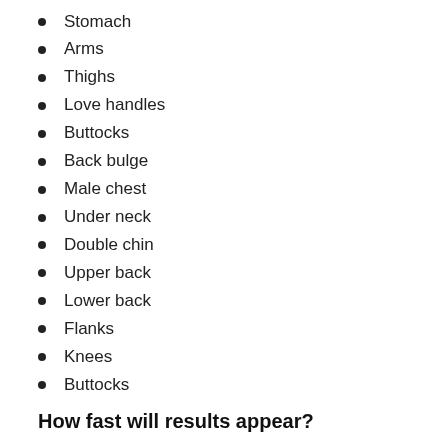Stomach
Arms
Thighs
Love handles
Buttocks
Back bulge
Male chest
Under neck
Double chin
Upper back
Lower back
Flanks
Knees
Buttocks
How fast will results appear?